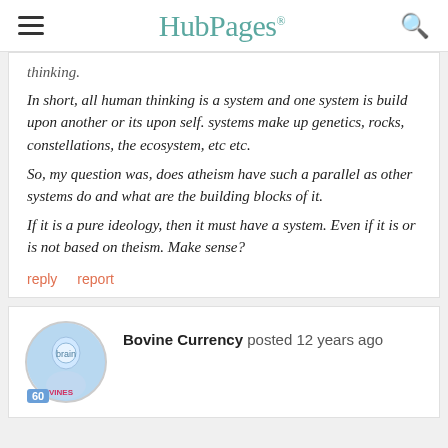HubPages
thinking.
In short, all human thinking is a system and one system is build upon another or its upon self. systems make up genetics, rocks, constellations, the ecosystem, etc etc.
So, my question was, does atheism have such a parallel as other systems do and what are the building blocks of it.
If it is a pure ideology, then it must have a system. Even if it is or is not based on theism. Make sense?
reply   report
Bovine Currency posted 12 years ago